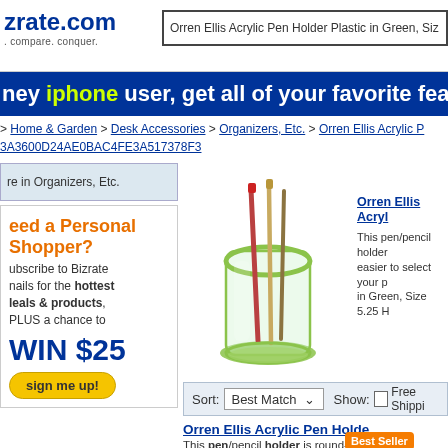zrate.com - shop. compare. conquer.
Orren Ellis Acrylic Pen Holder Plastic in Green, Siz
[Figure (screenshot): iPhone user banner - blue background with text: 'hey iphone user, get all of your favorite feat']
> Home & Garden > Desk Accessories > Organizers, Etc. > Orren Ellis Acrylic P
3A3600D24AE0BAC4FE3A517378F3
re in Organizers, Etc.
eed a Personal Shopper?
ubscribe to Bizrate nails for the hottest leals & products, PLUS a chance to WIN $25
sign me up!
[Figure (photo): Green acrylic pen holder with multiple pens/pencils inserted, transparent cylindrical body with green base and green circular accent.]
Orren Ellis Acryl
This pen/pencil holder easier to select your p in Green, Size 5.25 H
Sort: Best Match  Show: ☐ Free Shippi
Orren Ellis Acrylic Pen Holde
This pen/pencil holder is round-shape front is lower than the back, making it
Best Seller